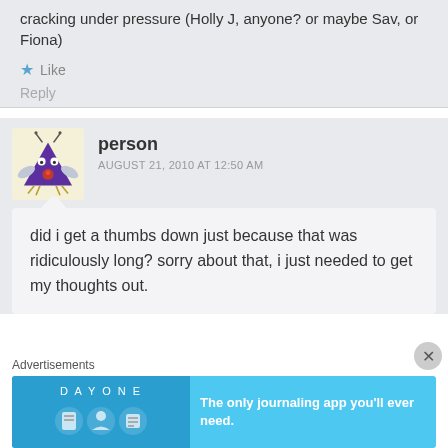cracking under pressure (Holly J, anyone? or maybe Sav, or Fiona)
Like
Reply
person
AUGUST 21, 2010 AT 12:50 AM
did i get a thumbs down just because that was ridiculously long? sorry about that, i just needed to get my thoughts out.
Advertisements
[Figure (screenshot): Day One journaling app advertisement banner with icons and text 'The only journaling app you'll ever need.']